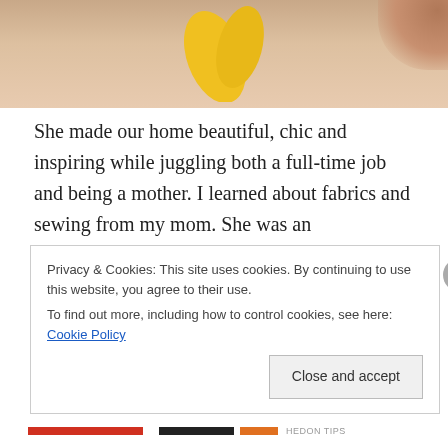[Figure (photo): Top portion of a photo showing a peach/skin-toned background with yellow decorative shapes and a partial view of a hand at the top right corner.]
She made our home beautiful, chic and inspiring while juggling both a full-time job and being a mother. I learned about fabrics and sewing from my mom. She was an extraordinary seamstress. When I was little, I loved going to the fabric store with her — it was a world of imagination and creativity. She taught me to appreciate quality, natural fibers like wools, silks and fine cotton. Now working with fabrics is one of my favorite parts of decorating.
Privacy & Cookies: This site uses cookies. By continuing to use this website, you agree to their use.
To find out more, including how to control cookies, see here: Cookie Policy
Close and accept